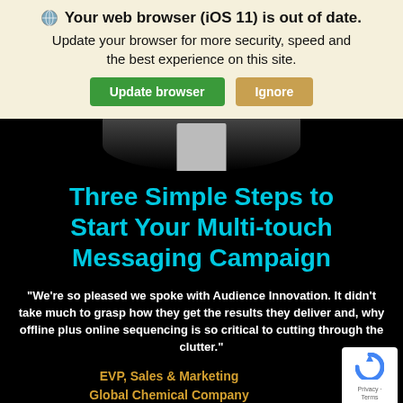🌐 Your web browser (iOS 11) is out of date. Update your browser for more security, speed and the best experience on this site.
[Figure (screenshot): Browser update banner with Update browser (green) and Ignore (orange) buttons]
[Figure (photo): Partial view of a person in a dark suit with white shirt, cropped at torso level, on black background]
Three Simple Steps to Start Your Multi-touch Messaging Campaign
“We’re so pleased we spoke with Audience Innovation. It didn’t take much to grasp how they get the results they deliver and, why offline plus online sequencing is so critical to cutting through the clutter.”
EVP, Sales & Marketing
Global Chemical Company